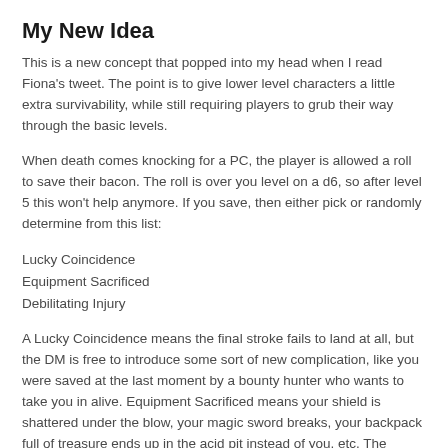My New Idea
This is a new concept that popped into my head when I read Fiona's tweet. The point is to give lower level characters a little extra survivability, while still requiring players to grub their way through the basic levels.
When death comes knocking for a PC, the player is allowed a roll to save their bacon. The roll is over you level on a d6, so after level 5 this won't help anymore. If you save, then either pick or randomly determine from this list:
Lucky Coincidence
Equipment Sacrificed
Debilitating Injury
A Lucky Coincidence means the final stroke fails to land at all, but the DM is free to introduce some sort of new complication, like you were saved at the last moment by a bounty hunter who wants to take you in alive. Equipment Sacrificed means your shield is shattered under the blow, your magic sword breaks, your backpack full of treasure ends up in the acid pit instead of you, etc. The player must